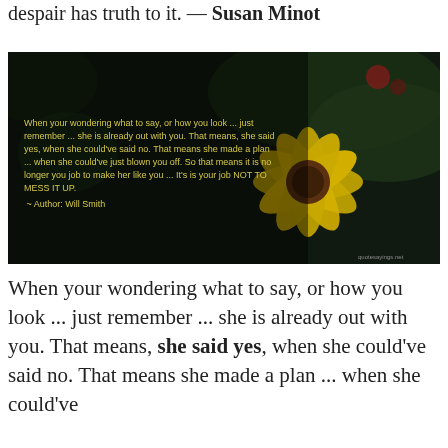despair has truth to it. — Susan Minot
[Figure (photo): Dark floral background photo with a yellow zinnia flower, overlaid with a Will Smith quote in yellow-green text: 'When your wondering what to say, or how you look ... just remember ... she is already out with you. That means, she said yes, when she could've said no. That means she made a plan ... when she could've just blown you off. So that means it is no longer you job to make her like you ... It's is your job NOT TO MESS IT UP. ~ Author: Will Smith'. Watermark: quotesayings.net]
When your wondering what to say, or how you look ... just remember ... she is already out with you. That means, she said yes, when she could've said no. That means she made a plan ... when she could've